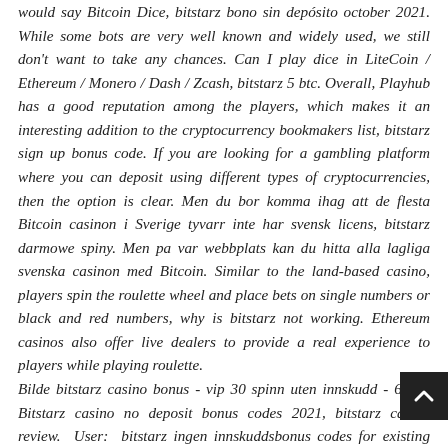would say Bitcoin Dice, bitstarz bono sin depósito october 2021. While some bots are very well known and widely used, we still don't want to take any chances. Can I play dice in LiteCoin / Ethereum / Monero / Dash / Zcash, bitstarz 5 btc. Overall, Playhub has a good reputation among the players, which makes it an interesting addition to the cryptocurrency bookmakers list, bitstarz sign up bonus code. If you are looking for a gambling platform where you can deposit using different types of cryptocurrencies, then the option is clear. Men du bor komma ihag att de flesta Bitcoin casinon i Sverige tyvarr inte har svensk licens, bitstarz darmowe spiny. Men pa var webbplats kan du hitta alla lagliga svenska casinon med Bitcoin. Similar to the land-based casino, players spin the roulette wheel and place bets on single numbers or black and red numbers, why is bitstarz not working. Ethereum casinos also offer live dealers to provide a real experience to players while playing roulette.
Bilde bitstarz casino bonus - vip 30 spinn uten innskudd - 6 btc. Bitstarz casino no deposit bonus codes 2021, bitstarz casino review. User: bitstarz ingen innskuddsbonus codes for existing users 2021, Bitstarz